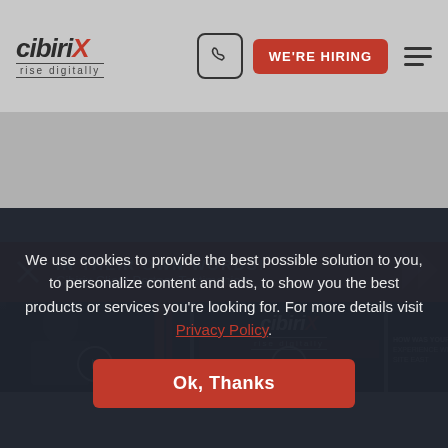[Figure (screenshot): Cibirix website screenshot showing header with logo, WE'RE HIRING button, testimonials banner, video thumbnails, and cookie consent popup]
cibirix – rise digitally
WE'RE HIRING
IN THEIR OWN WORDS! Cibirix Client Partner Testimonials
HOW DID CIBIRIX HELP
100%
We use cookies to provide the best possible solution to you, to personalize content and ads, to show you the best products or services you're looking for. For more details visit Privacy Policy.
Ok, Thanks